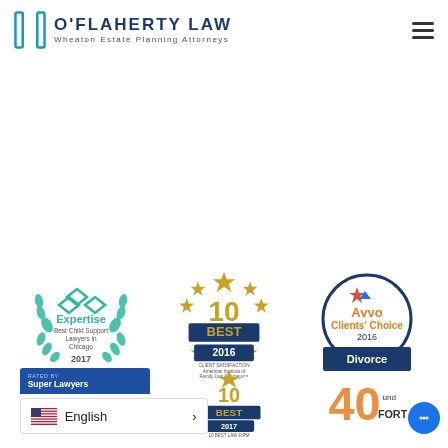[Figure (logo): O'Flaherty Law logo with teal bracket icon, bold dark blue uppercase text 'O'FLAHERTY LAW' and subtitle 'Wheaton Estate Planning Attorneys']
[Figure (illustration): Expertise badge: Best Child Support Lawyers in Chicago 2017, teal wreath design]
[Figure (illustration): 10 Best 2016 Client Satisfaction badge - American Institute of Family Law Attorneys]
[Figure (illustration): Avvo Clients Choice 2016 - Divorce badge, navy and white circle design]
[Figure (illustration): Rated by Super Lawyers blue badge]
[Figure (illustration): 10 Best 2017 Law Firm gold badge]
[Figure (illustration): Under Forty partial badge, orange/red design]